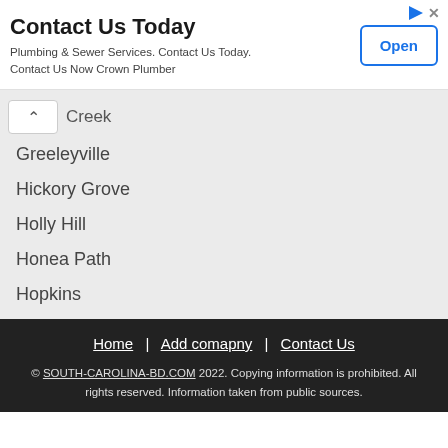[Figure (other): Advertisement banner: Contact Us Today - Plumbing & Sewer Services with Open button]
Creek
Greeleyville
Hickory Grove
Holly Hill
Honea Path
Hopkins
Home | Add comapny | Contact Us
© SOUTH-CAROLINA-BD.COM 2022. Copying information is prohibited. All rights reserved. Information taken from public sources.